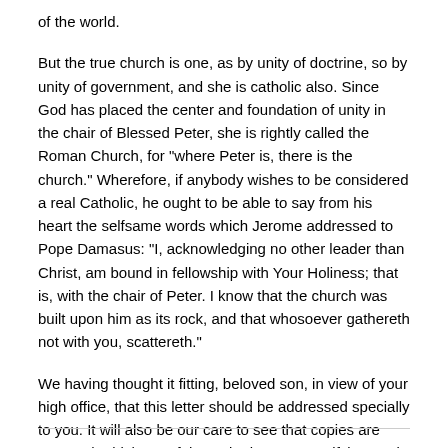of the world.
But the true church is one, as by unity of doctrine, so by unity of government, and she is catholic also. Since God has placed the center and foundation of unity in the chair of Blessed Peter, she is rightly called the Roman Church, for "where Peter is, there is the church." Wherefore, if anybody wishes to be considered a real Catholic, he ought to be able to say from his heart the selfsame words which Jerome addressed to Pope Damasus: "I, acknowledging no other leader than Christ, am bound in fellowship with Your Holiness; that is, with the chair of Peter. I know that the church was built upon him as its rock, and that whosoever gathereth not with you, scattereth."
We having thought it fitting, beloved son, in view of your high office, that this letter should be addressed specially to you. It will also be our care to see that copies are sent to the bishops of the United States, testifying again that love by which we embrace your whole country, a country which in past times has done so much for the cause of religion, and which will by the Divine assistance continue to do still greater things. To you, and to all the faithful of America, we grant most lovingly, as a pledge of Divine assistance, our apostolic benediction.